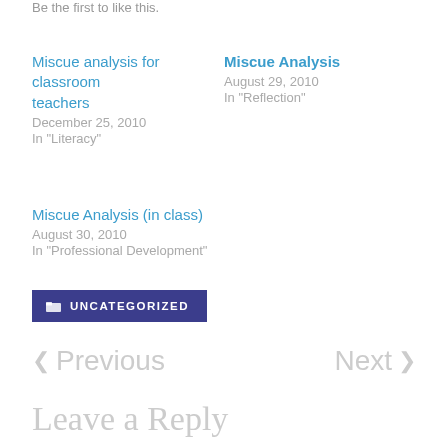Be the first to like this.
Miscue analysis for classroom teachers
December 25, 2010
In "Literacy"
Miscue Analysis
August 29, 2010
In "Reflection"
Miscue Analysis (in class)
August 30, 2010
In "Professional Development"
UNCATEGORIZED
< Previous
Next >
Leave a Reply